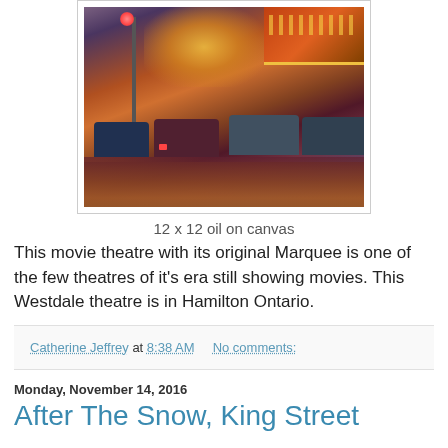[Figure (photo): Oil painting of a movie theatre at night in rain, cars in foreground, glowing marquee visible, reflections on wet street. Westdale Theatre, Hamilton Ontario.]
12 x 12 oil on canvas
This movie theatre with its original Marquee is one of the few theatres of it's era still showing movies. This Westdale theatre is in Hamilton Ontario.
Catherine Jeffrey at 8:38 AM    No comments:
Monday, November 14, 2016
After The Snow, King Street